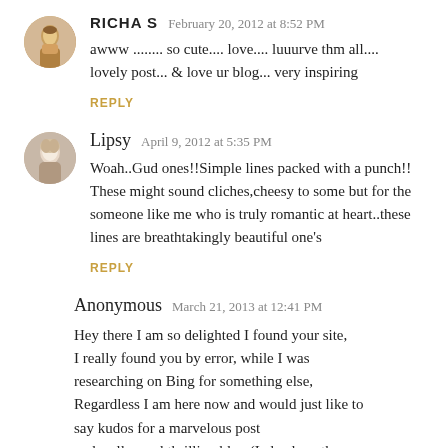[Figure (photo): Avatar photo of Richa S, small circular thumbnail showing decorative figure]
RICHA S   February 20, 2012 at 8:52 PM
awww ........ so cute.... love.... luuurve thm all.... lovely post... & love ur blog... very inspiring
REPLY
[Figure (photo): Avatar photo of Lipsy, small circular thumbnail showing young woman with light hair]
Lipsy   April 9, 2012 at 5:35 PM
Woah..Gud ones!!Simple lines packed with a punch!!
These might sound cliches,cheesy to some but for the someone like me who is truly romantic at heart..these lines are breathtakingly beautiful one's
REPLY
Anonymous   March 21, 2013 at 12:41 PM
Hey there I am so delighted I found your site, I really found you by error, while I was researching on Bing for something else, Regardless I am here now and would just like to say kudos for a marvelous post and a all round thrilling blog (I also love the